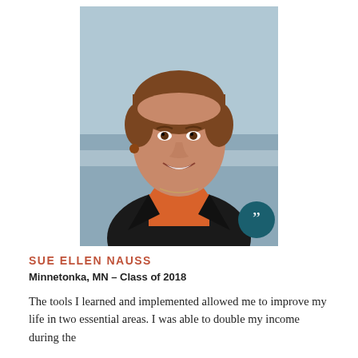[Figure (photo): Professional headshot of Sue Ellen Nauss, a woman with short brown hair wearing an orange turtleneck and black jacket, smiling, photographed outdoors near water. A teal circle with closing quotation marks appears in the lower-right corner of the photo.]
SUE ELLEN NAUSS
Minnetonka, MN – Class of 2018
The tools I learned and implemented allowed me to improve my life in two essential areas. I was able to double my income during the course (2015-16) and it also...